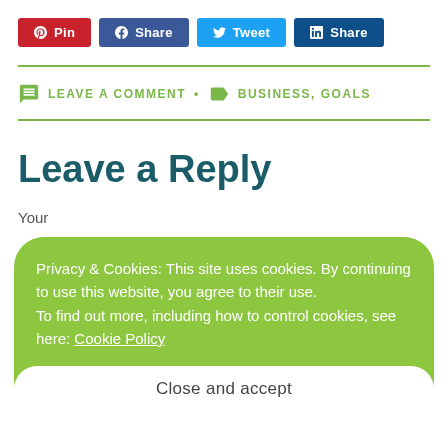[Figure (other): Social share buttons: Pinterest Pin (red), Facebook Share (dark blue), Twitter Tweet (light blue), LinkedIn Share (navy blue)]
LEAVE A COMMENT • BUSINESS, GOALS
Leave a Reply
Your email address will not be published. Required fields are marked *
Privacy & Cookies: This site uses cookies. By continuing to use this website, you agree to their use. To find out more, including how to control cookies, see here: Cookie Policy
Close and accept